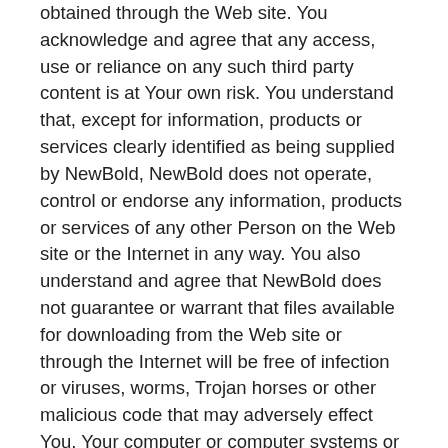obtained through the Web site. You acknowledge and agree that any access, use or reliance on any such third party content is at Your own risk. You understand that, except for information, products or services clearly identified as being supplied by NewBold, NewBold does not operate, control or endorse any information, products or services of any other Person on the Web site or the Internet in any way. You also understand and agree that NewBold does not guarantee or warrant that files available for downloading from the Web site or through the Internet will be free of infection or viruses, worms, Trojan horses or other malicious code that may adversely effect You, Your computer or computer systems or Your data or files. In addition, You are responsible for implementing sufficient procedures and checkpoints to satisfy Your particular requirements for accuracy of data input and output,